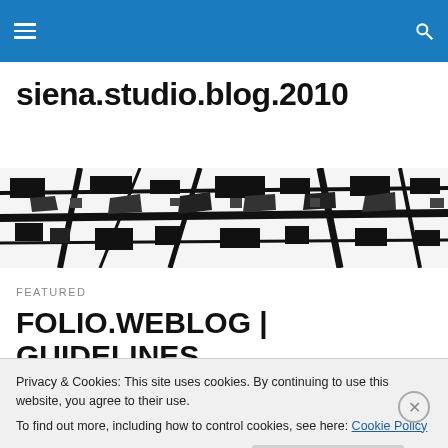Navigation bar with hamburger menu and search icon
siena.studio.blog.2010
[Figure (illustration): Black and white aerial/map view of urban streets and buildings used as a decorative banner]
FEATURED
FOLIO.WEBLOG | GUIDELINES
DEADLINES
Privacy & Cookies: This site uses cookies. By continuing to use this website, you agree to their use.
To find out more, including how to control cookies, see here: Cookie Policy
Close and accept